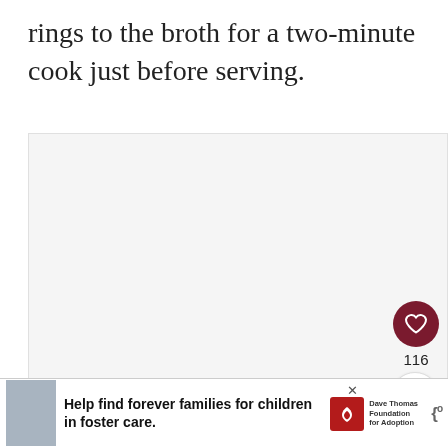rings to the broth for a two-minute cook just before serving.
[Figure (photo): Large light-gray image placeholder area with UI overlay elements: a dark red heart/like button showing 116 likes, a share button, and a 'What's Next → Gumbo' navigation element with a food thumbnail.]
[Figure (infographic): Advertisement banner: photo of a young man in shirt and tie, text 'Help find forever families for children in foster care.' with Dave Thomas Foundation for Adoption logo in red and a Merriam-Webster logo.]